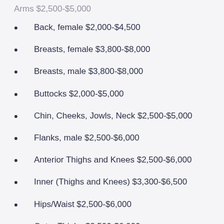Arms $2,500-$5,000 (truncated/partial)
Back, female $2,000-$4,500
Breasts, female $3,800-$8,000
Breasts, male $3,800-$8,000
Buttocks $2,000-$5,000
Chin, Cheeks, Jowls, Neck $2,500-$5,000
Flanks, male $2,500-$6,000
Anterior Thighs and Knees $2,500-$6,000
Inner (Thighs and Knees) $3,300-$6,500
Hips/Waist $2,500-$6,000
Outer Thighs $2,500-$6,000
Why Choose A Board